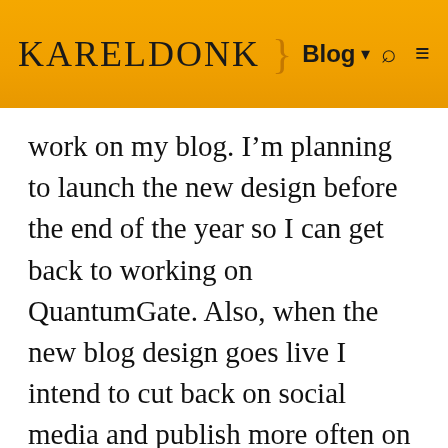KARELDONK } Blog ▾ 🔍 ≡
work on my blog. I'm planning to launch the new design before the end of the year so I can get back to working on QuantumGate. Also, when the new blog design goes live I intend to cut back on social media and publish more often on my blog instead. So you if you want to stay in touch, subscribe to my blog's RSS